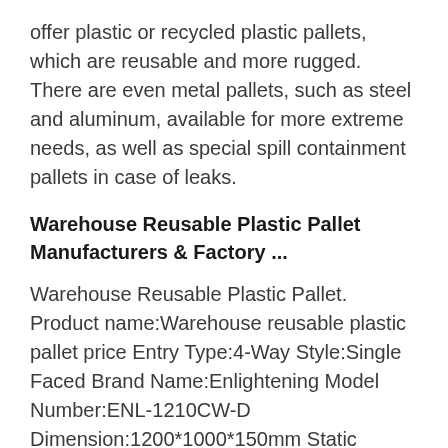offer plastic or recycled plastic pallets, which are reusable and more rugged. There are even metal pallets, such as steel and aluminum, available for more extreme needs, as well as special spill containment pallets in case of leaks.
Warehouse Reusable Plastic Pallet Manufacturers & Factory ...
Warehouse Reusable Plastic Pallet. Product name:Warehouse reusable plastic pallet price Entry Type:4-Way Style:Single Faced Brand Name:Enlightening Model Number:ENL-1210CW-D Dimension:1200*1000*150mm Static Load:6t Dynamic Load:1.5t Rack load:1.5t Weight:22 kgs Certificates:ISO/SGS Usage:warehouse rack use Logo:Free silk print or...
Reusable Rice Use Plastic Pallet Suppliers and Manufacturers ...